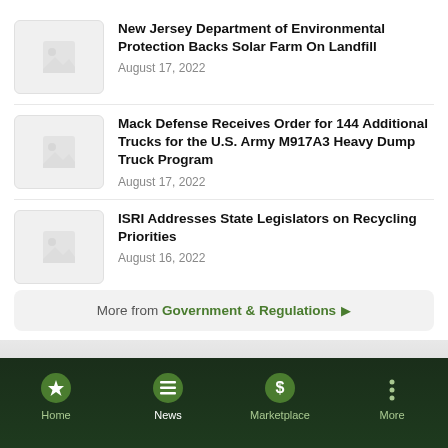New Jersey Department of Environmental Protection Backs Solar Farm On Landfill
August 17, 2022
Mack Defense Receives Order for 144 Additional Trucks for the U.S. Army M917A3 Heavy Dump Truck Program
August 17, 2022
ISRI Addresses State Legislators on Recycling Priorities
August 16, 2022
More from Government & Regulations ▶
Home  News  Marketplace  More